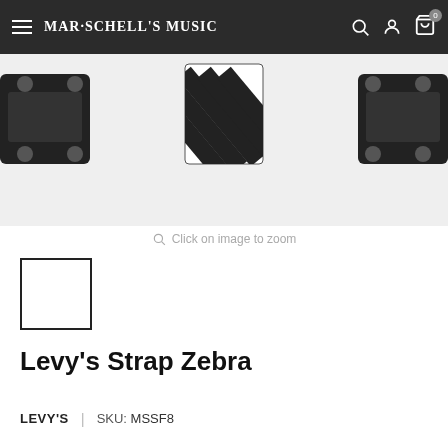Mar·Schell's Music — navigation bar with hamburger menu, logo, search, account, and cart icons
[Figure (photo): Product photo of Levy's Strap Zebra — black and white zebra-stripe guitar strap with metal hardware, shown against a light background. Partial view showing strap ends and center pattern.]
Click on image to zoom
[Figure (photo): Small thumbnail image box for the product (empty/white with black border)]
Levy's Strap Zebra
LEVY'S | SKU: MSSF8